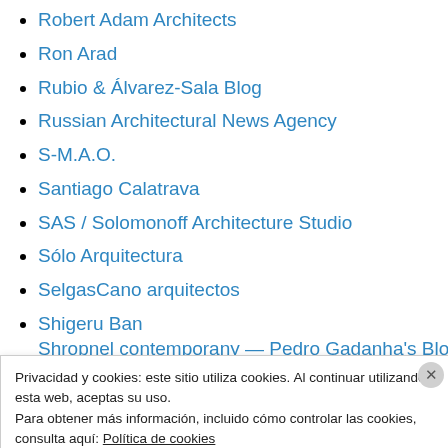Robert Adam Architects
Ron Arad
Rubio & Álvarez-Sala Blog
Russian Architectural News Agency
S-M.A.O.
Santiago Calatrava
SAS / Solomonoff Architecture Studio
Sólo Arquitectura
SelgasCano arquitectos
Shigeru Ban
Shropnel contemporany — Pedro Gadanha's Blog (partial, cut off)
Privacidad y cookies: este sitio utiliza cookies. Al continuar utilizando esta web, aceptas su uso.
Para obtener más información, incluido cómo controlar las cookies, consulta aquí: Política de cookies
Cerrar y aceptar